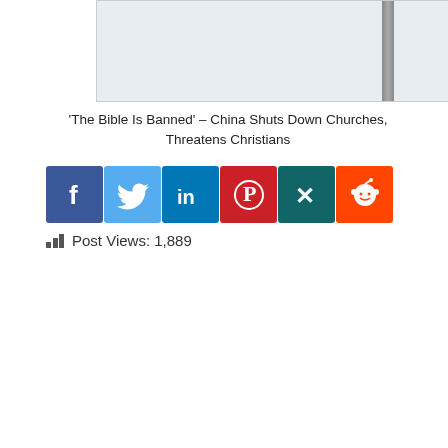[Figure (photo): Partial view of a grey pole or flagpole against a light grey/white sky background, cropped at top of page]
'The Bible Is Banned' – China Shuts Down Churches, Threatens Christians
[Figure (infographic): Row of six social media sharing buttons: Facebook (blue), Twitter (light blue), LinkedIn (dark blue), Pinterest (red), XING (teal), Reddit (orange-red)]
Post Views: 1,889